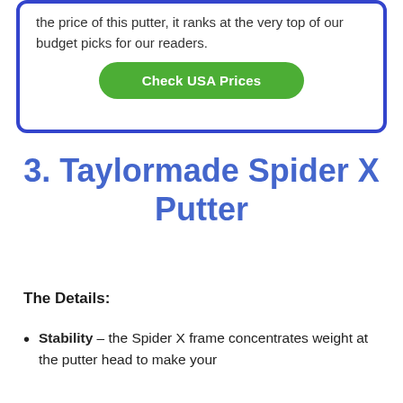the price of this putter, it ranks at the very top of our budget picks for our readers.
Check USA Prices
3. Taylormade Spider X Putter
The Details:
Stability – the Spider X frame concentrates weight at the putter head to make your